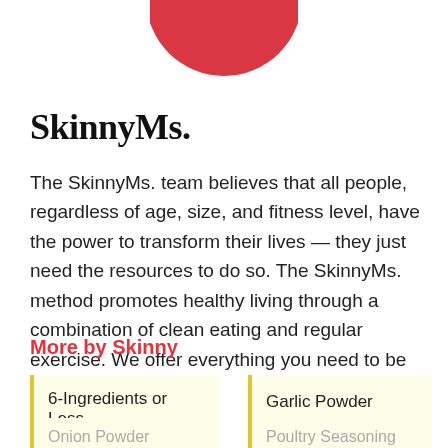[Figure (illustration): Red circle logo partially visible at top center of page]
SkinnyMs.
The SkinnyMs. team believes that all people, regardless of age, size, and fitness level, have the power to transform their lives — they just need the resources to do so. The SkinnyMs. method promotes healthy living through a combination of clean eating and regular exercise. We offer everything you need to be successful.
More by Skinny
6-Ingredients or Less
Garlic Powder
Onion Powder
Poultry Seasoning